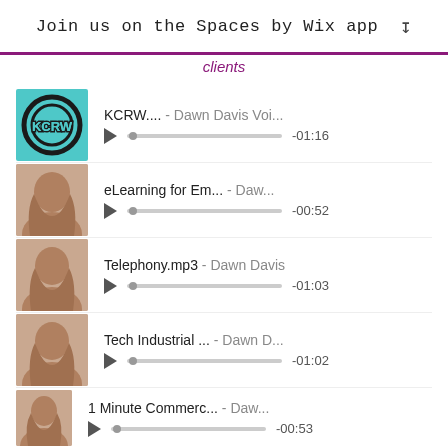Join us on the Spaces by Wix app ↓
clients
KCRW.... - Dawn Davis Voi... -01:16
eLearning for Em... - Daw... -00:52
Telephony.mp3 - Dawn Davis -01:03
Tech Industrial ... - Dawn D... -01:02
1 Minute Commerc... - Daw... -00:53